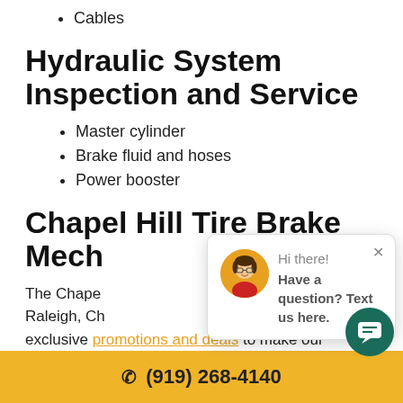Cables
Hydraulic System Inspection and Service
Master cylinder
Brake fluid and hoses
Power booster
Chapel Hill Tire Brake Mech
The Chape Raleigh, Ch exclusive promotions and deals to make our transparent prices even lower. Our professio
[Figure (other): Chat popup overlay with avatar photo of woman with glasses, text: Hi there! Have a question? Text us here. With close X button.]
[Figure (other): Teal/green circular chat button icon in bottom right corner.]
(919) 268-4140